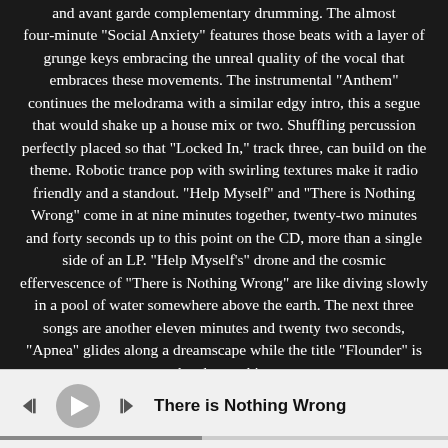and avant garde complementary drumming. The almost four-minute "Social Anxiety" features those beats with a layer of grunge keys embracing the unreal quality of the vocal that embraces these movements. The instrumental "Anthem" continues the melodrama with a similar edgy intro, this a segue that would shake up a house mix or two. Shuffling percussion perfectly placed so that "Locked In," track three, can build on the theme. Robotic trance pop with swirling textures make it radio friendly and a standout. "Help Myself" and "There is Nothing Wrong" come in at nine minutes together, twenty-two minutes and forty seconds up to this point on the CD, more than a single side of an LP. "Help Myself's" drone and the cosmic effervescence of "There is Nothing Wrong" are like diving slowly in a pool of water somewhere above the earth. The next three songs are another eleven minutes and twenty two seconds, "Apnea" glides along a dreamscape while the title "Flounder" is the closest thing
[Figure (screenshot): Music player bar showing playback controls (skip back, play button, skip forward) and track title 'There is Nothing Wrong' with a progress bar beneath]